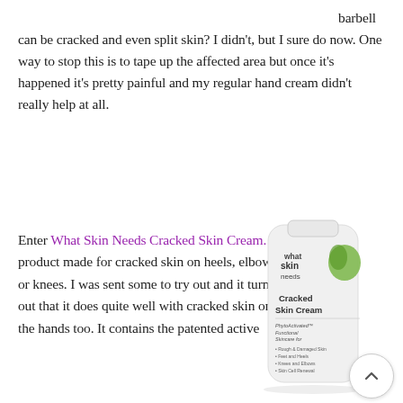barbell can be cracked and even split skin? I didn't, but I sure do now. One way to stop this is to tape up the affected area but once it's happened it's pretty painful and my regular hand cream didn't really help at all.
Enter What Skin Needs Cracked Skin Cream. A product made for cracked skin on heels, elbows or knees. I was sent some to try out and it turns out that it does quite well with cracked skin on the hands too. It contains the patented active
[Figure (photo): A white tube of 'What Skin Needs Cracked Skin Cream' product with green leaf logo and text describing PhytoActivated Functional Skincare for rough & damaged skin, feet and heels, knees and elbows, skin cell renewal.]